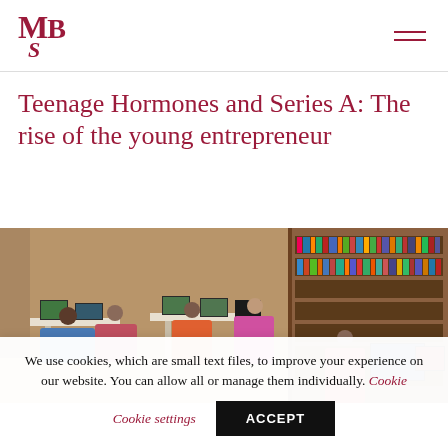MBS
Teenage Hormones and Series A: The rise of the young entrepreneur
[Figure (photo): Children and teenagers working at computers in a library setting with bookshelves in the background]
We use cookies, which are small text files, to improve your experience on our website. You can allow all or manage them individually. Cookie settings ACCEPT